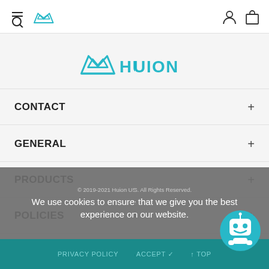[Figure (logo): Huion logo in navbar top-left: crown icon in teal]
[Figure (logo): Huion main logo centered: teal crown with HUION text]
CONTACT +
GENERAL +
PRODUCTS +
POLICIES +
© 2019-2021 Huion US. All Rights Reserved.
We use cookies to ensure that we give you the best experience on our website.
PRIVACY POLICY   ACCEPT ✓   ↑ TOP